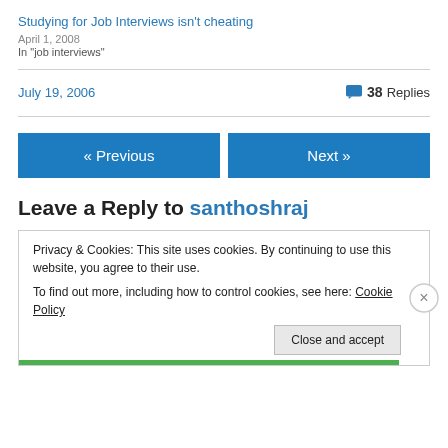Studying for Job Interviews isn't cheating
April 1, 2008
In "job interviews"
July 19, 2006
38 Replies
« Previous
Next »
Leave a Reply to santhoshraj
Privacy & Cookies: This site uses cookies. By continuing to use this website, you agree to their use.
To find out more, including how to control cookies, see here: Cookie Policy
Close and accept